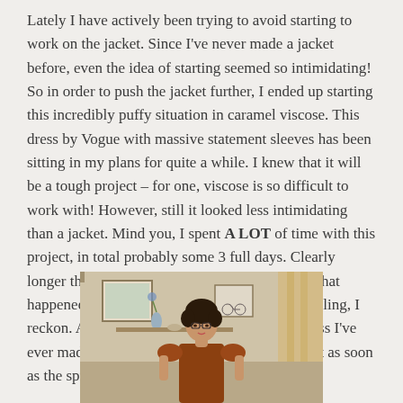Lately I have actively been trying to avoid starting to work on the jacket. Since I've never made a jacket before, even the idea of starting seemed so intimidating! So in order to push the jacket further, I ended up starting this incredibly puffy situation in caramel viscose. This dress by Vogue with massive statement sleeves has been sitting in my plans for quite a while. I knew that it will be a tough project – for one, viscose is so difficult to work with! However, still it looked less intimidating than a jacket. Mind you, I spent A LOT of time with this project, in total probably some 3 full days. Clearly longer than justifiable, and shortly I'll explain what happened. However, the end result is very appealing, I reckon. Am not so sure if that's the loveliest dress I've ever made, but I will absolutely enjoy wearing it as soon as the spring comes!
[Figure (photo): A woman with short dark curly hair and glasses wearing a caramel/rust colored dress with puffy statement sleeves, standing in a room with framed art and home decor visible in the background.]